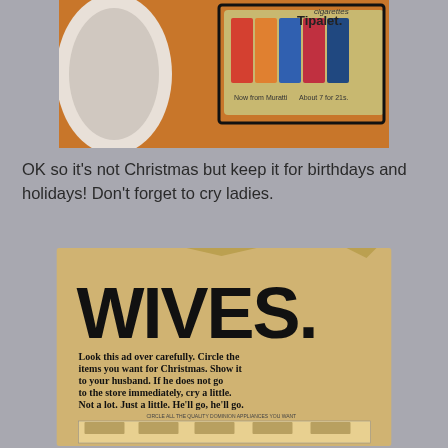[Figure (photo): Top portion of a vintage advertisement showing colorful cigarette packages for Tipalet brand, with text 'Now from Muratti' and 'About 7 for 21s.' visible at the bottom of the image.]
OK so it's not Christmas but keep it for birthdays and holidays! Don't forget to cry ladies.
[Figure (photo): Vintage newspaper advertisement with large bold text 'WIVES.' at top, followed by bold serif text reading: 'Look this ad over carefully. Circle the items you want for Christmas. Show it to your husband. If he does not go to the store immediately, cry a little. Not a lot. Just a little. He'll go, he'll go.' Below is a grid showing household appliances including mixers, toasters, coffee makers, and other kitchen items with labels underneath each.]